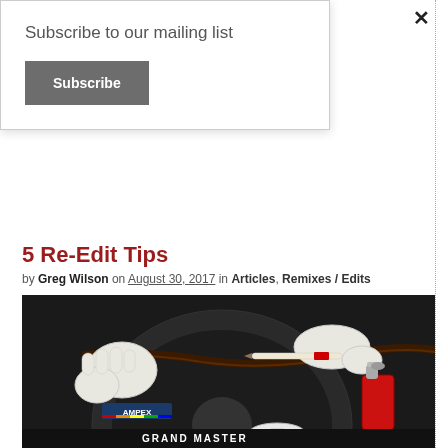Subscribe to our mailing list
Subscribe
×
5 Re-Edit Tips
by Greg Wilson on August 30, 2017 in Articles, Remixes / Edits
[Figure (photo): Hands in white gloves editing magnetic tape on an Ampex Grand Master reel, with a red bottle of splicing fluid and white tape roll on a dark surface.]